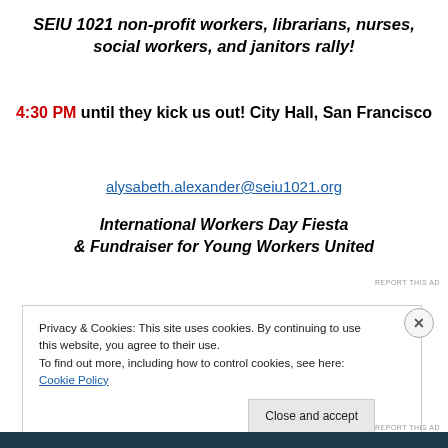SEIU 1021 non-profit workers, librarians, nurses, social workers, and janitors rally!
4:30 PM until they kick us out! City Hall, San Francisco
alysabeth.alexander@seiu1021.org
International Workers Day Fiesta & Fundraiser for Young Workers United
[Figure (other): Dark teal advertisement bar with italic bold white text: Built by us. Built for you.]
REPORT THIS AD
Privacy & Cookies: This site uses cookies. By continuing to use this website, you agree to their use. To find out more, including how to control cookies, see here: Cookie Policy
Close and accept